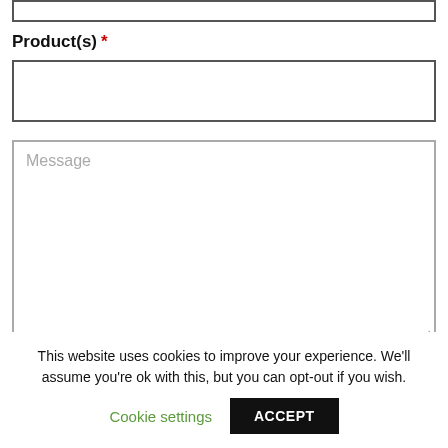[Figure (screenshot): Email input field (top, partially visible, empty text box with dark border)]
Product(s) *
[Figure (screenshot): Product(s) input field (empty text box with dark border)]
[Figure (screenshot): Message textarea with placeholder text 'Message' and resize handle]
This website uses cookies to improve your experience. We'll assume you're ok with this, but you can opt-out if you wish.
Cookie settings
ACCEPT